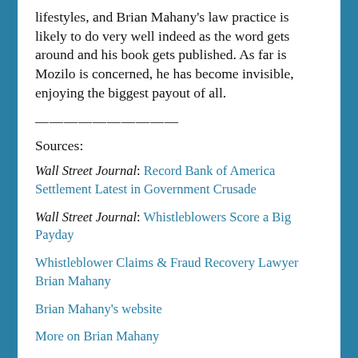lifestyles, and Brian Mahany's law practice is likely to do very well indeed as the word gets around and his book gets published. As far is Mozilo is concerned, he has become invisible, enjoying the biggest payout of all.
——————————
Sources:
Wall Street Journal: Record Bank of America Settlement Latest in Government Crusade
Wall Street Journal: Whistleblowers Score a Big Payday
Whistleblower Claims & Fraud Recovery Lawyer Brian Mahany
Brian Mahany's website
More on Brian Mahany